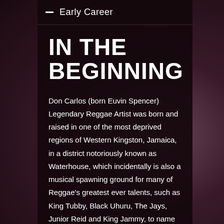Early Career
IN THE BEGINNING
Don Carlos (born Euvin Spencer) Legendary Reggae Artist was born and raised in one of the most deprived regions of Western Kingston, Jamaica, in a district notoriously known as Waterhouse, which incidentally is also a musical spawning ground for many of Reggae's greatest ever talents, such as King Tubby, Black Uhuru, The Jays, Junior Reid and King Jammy, to name but a few.
Don Carlos started his singing career in 1973 as one of the original members of Black Uhuru, alongside other founding